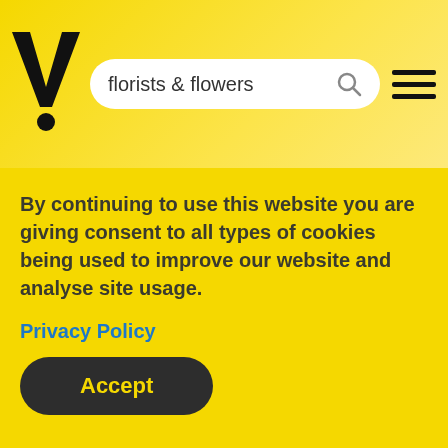[Figure (logo): Yellow Pages logo - bold black V with exclamation dot and yellow background]
florists & flowers
[Figure (other): Hamburger menu icon with three horizontal lines]
[Figure (other): Grey content area placeholder]
By continuing to use this website you are giving consent to all types of cookies being used to improve our website and analyse site usage.
Privacy Policy
Accept